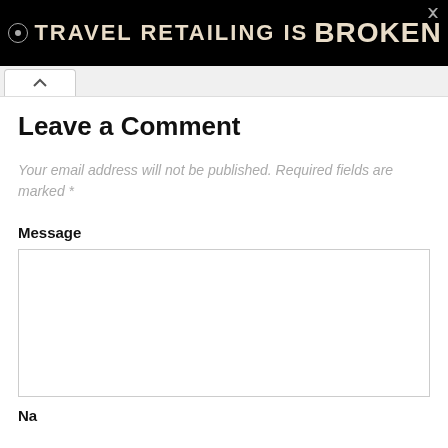[Figure (other): Black advertisement banner reading TRAVEL RETAILING IS BROKEN in bold uppercase text on black background]
Leave a Comment
Your email address will not be published. Required fields are marked *
Message
[Figure (other): Empty message text area input box]
Name